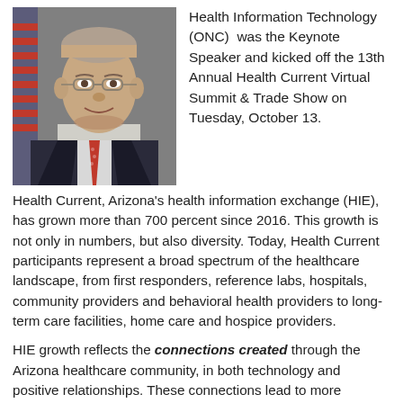[Figure (photo): Professional headshot of a man in a dark suit with a red tie, American flag visible in background]
Health Information Technology (ONC) was the Keynote Speaker and kicked off the 13th Annual Health Current Virtual Summit & Trade Show on Tuesday, October 13.
Health Current, Arizona's health information exchange (HIE), has grown more than 700 percent since 2016. This growth is not only in numbers, but also diversity. Today, Health Current participants represent a broad spectrum of the healthcare landscape, from first responders, reference labs, hospitals, community providers and behavioral health providers to long-term care facilities, home care and hospice providers.
HIE growth reflects the connections created through the Arizona healthcare community, in both technology and positive relationships. These connections lead to more complete patient information that helps clinicians make better decisions to improve care and outcomes. Integrating HIE data into clinical workflows helps providers in all settings achieve results.